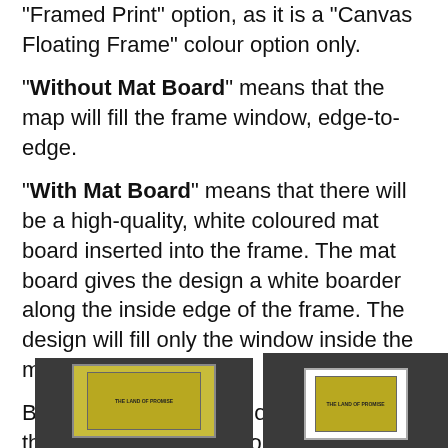"Framed Print" option, as it is a "Canvas Floating Frame" colour option only.
"Without Mat Board" means that the map will fill the frame window, edge-to-edge.
"With Mat Board" means that there will be a high-quality, white coloured mat board inserted into the frame. The mat board gives the design a white boarder along the inside edge of the frame. The design will fill only the window inside the mat board.
Below is an example photograph of what the Mat Board option looks like:
[Figure (photo): Two side-by-side photographs showing framed map prints. Left image shows a map on dark background without mat board. Right image shows the same map with a white mat board border inside a frame.]